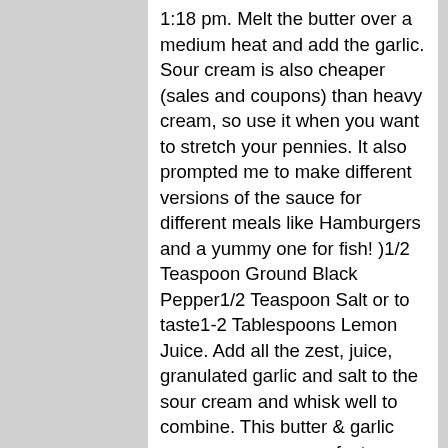1:18 pm. Melt the butter over a medium heat and add the garlic. Sour cream is also cheaper (sales and coupons) than heavy cream, so use it when you want to stretch your pennies. It also prompted me to make different versions of the sauce for different meals like Hamburgers and a yummy one for fish! )1/2 Teaspoon Ground Black Pepper1/2 Teaspoon Salt or to taste1-2 Tablespoons Lemon Juice. Add all the zest, juice, granulated garlic and salt to the sour cream and whisk well to combine. This butter & garlic cream sauce was perfect sauce with chicken and cheese ravioli that I bought from Costco. Reply. Slice the meat into 1/4 ... and mince the garlic.Slowly sauté these ingredients ... peel and slice potatoes into quarters.